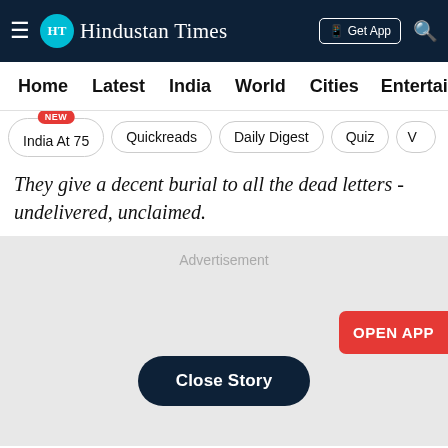Hindustan Times
Home  Latest  India  World  Cities  Entertainment
India At 75  Quickreads  Daily Digest  Quiz  V
They give a decent burial to all the dead letters - undelivered, unclaimed.
[Figure (other): Advertisement placeholder area with grey background, OPEN APP button in red, and Close Story button in dark navy]
Advertisement